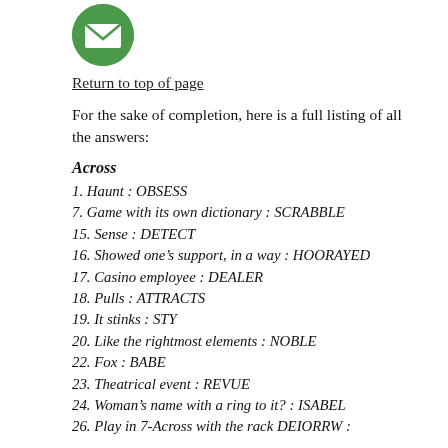[Figure (logo): Green circle icon with white envelope/mail symbol]
Return to top of page
For the sake of completion, here is a full listing of all the answers:
Across
1. Haunt : OBSESS
7. Game with its own dictionary : SCRABBLE
15. Sense : DETECT
16. Showed one's support, in a way : HOORAYED
17. Casino employee : DEALER
18. Pulls : ATTRACTS
19. It stinks : STY
20. Like the rightmost elements : NOBLE
22. Fox : BABE
23. Theatrical event : REVUE
24. Woman's name with a ring to it? : ISABEL
26. Play in 7-Across with the rack DEIORRW :